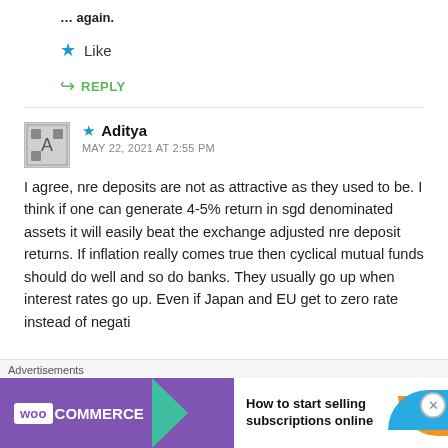… again.
Like
REPLY
★ Aditya
MAY 22, 2021 AT 2:55 PM
I agree, nre deposits are not as attractive as they used to be. I think if one can generate 4-5% return in sgd denominated assets it will easily beat the exchange adjusted nre deposit returns. If inflation really comes true then cyclical mutual funds should do well and so do banks. They usually go up when interest rates go up. Even if Japan and EU get to zero rate instead of negati…
[Figure (infographic): WooCommerce advertisement banner: purple background with WooCommerce logo and arrow, text 'How to start selling subscriptions online', with orange and blue decorative shapes]